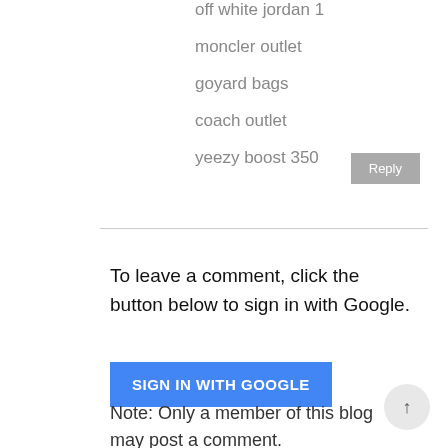off white jordan 1
moncler outlet
goyard bags
coach outlet
yeezy boost 350
Reply
To leave a comment, click the button below to sign in with Google.
SIGN IN WITH GOOGLE
Note: Only a member of this blog may post a comment.